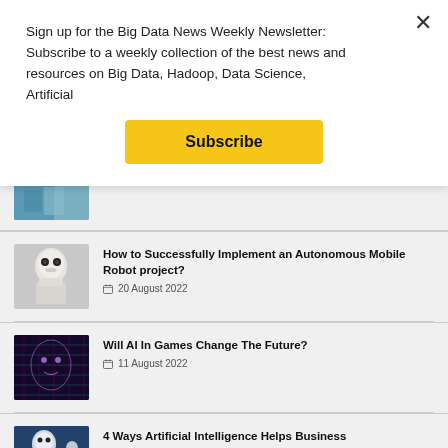Sign up for the Big Data News Weekly Newsletter: Subscribe to a weekly collection of the best news and resources on Big Data, Hadoop, Data Science, Artificial
Subscribe
[Figure (photo): Partial thumbnail of a hand holding a device (blue tones), partially visible at top of list]
[Figure (photo): Thumbnail of a white humanoid robot (Pepper-like) looking forward]
How to Successfully Implement an Autonomous Mobile Robot project?
20 August 2022
[Figure (photo): Thumbnail of a human face overlaid with colorful digital grid/AI visualization]
Will AI In Games Change The Future?
11 August 2022
[Figure (photo): Thumbnail of a white robot/AI figure against blue background]
4 Ways Artificial Intelligence Helps Business
10 August 2022